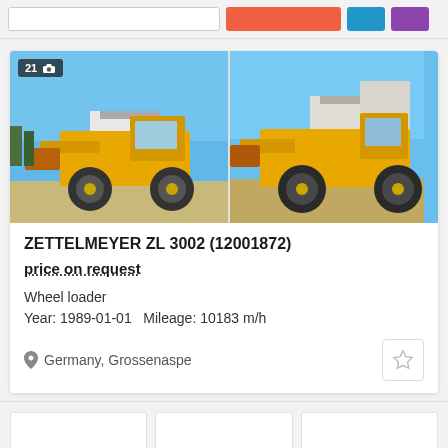[Figure (screenshot): Top navigation bar with search input, orange button, blue button, purple button]
[Figure (photo): ZETTELMEYER ZL 3002 wheel loader, yellow, parked outdoors with blue sky background. Photo 1 of 21.]
[Figure (photo): ZETTELMEYER ZL 3002 wheel loader, yellow, second photo showing front view with building in background.]
ZETTELMEYER ZL 3002 (12001872)
price on request
Wheel loader
Year: 1989-01-01  Mileage: 10183 m/h
Germany, Grossenaspe